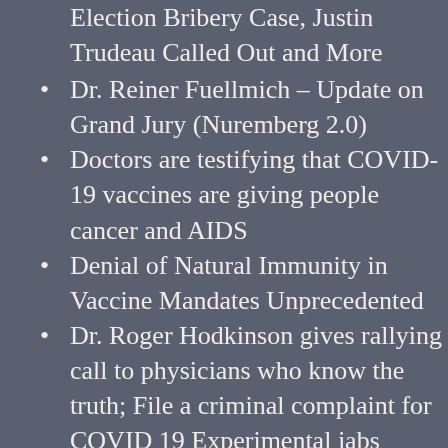Election Bribery Case, Justin Trudeau Called Out and More
Dr. Reiner Fuellmich – Update on Grand Jury (Nuremberg 2.0)
Doctors are testifying that COVID-19 vaccines are giving people cancer and AIDS
Denial of Natural Immunity in Vaccine Mandates Unprecedented
Dr. Roger Hodkinson gives rallying call to physicians who know the truth; File a criminal complaint for COVID 19 Experimental jabs